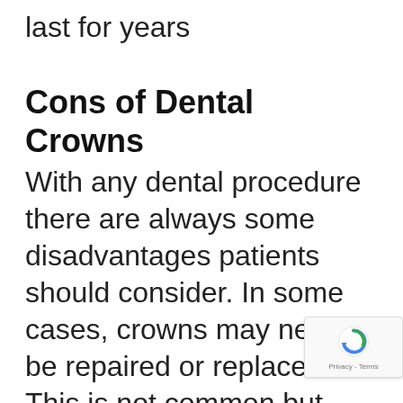last for years
Cons of Dental Crowns
With any dental procedure there are always some disadvantages patients should consider. In some cases, crowns may need to be repaired or replaced. This is not common but does happen occasionally. During a crown procedure the tooth has to be filed down to ensure the
[Figure (logo): reCAPTCHA badge with spinning arrow logo and Privacy - Terms text]